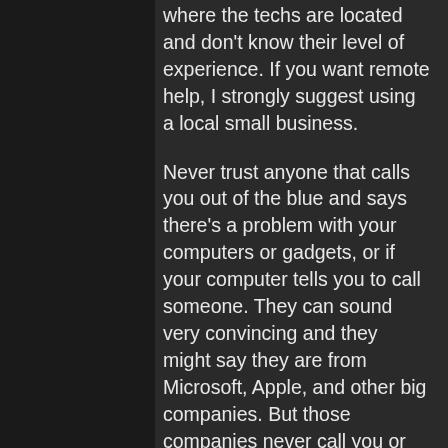where the techs are located and don't know their level of experience. If you want remote help, I strongly suggest using a local small business.
Never trust anyone that calls you out of the blue and says there's a problem with your computers or gadgets, or if your computer tells you to call someone. They can sound very convincing and they might say they are from Microsoft, Apple, and other big companies. But those companies never call you or put up alerts on your computer telling you to call them.
If you take your computer into a shop or have a remote tech connect to your computer, they are limited in the help they can provide. They can't get their hands on your all physical components, like your printer...